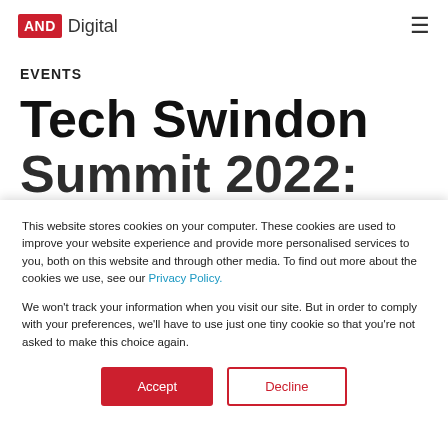[Figure (logo): AND Digital logo: red box with AND text and 'Digital' wordmark]
EVENTS
Tech Swindon Summit 2022: D...
This website stores cookies on your computer. These cookies are used to improve your website experience and provide more personalised services to you, both on this website and through other media. To find out more about the cookies we use, see our Privacy Policy.
We won't track your information when you visit our site. But in order to comply with your preferences, we'll have to use just one tiny cookie so that you're not asked to make this choice again.